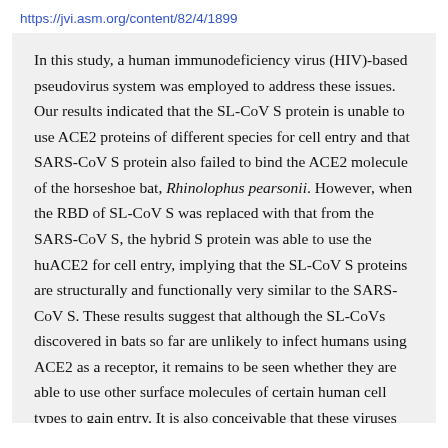https://jvi.asm.org/content/82/4/1899
In this study, a human immunodeficiency virus (HIV)-based pseudovirus system was employed to address these issues. Our results indicated that the SL-CoV S protein is unable to use ACE2 proteins of different species for cell entry and that SARS-CoV S protein also failed to bind the ACE2 molecule of the horseshoe bat, Rhinolophus pearsonii. However, when the RBD of SL-CoV S was replaced with that from the SARS-CoV S, the hybrid S protein was able to use the huACE2 for cell entry, implying that the SL-CoV S proteins are structurally and functionally very similar to the SARS-CoV S. These results suggest that although the SL-CoVs discovered in bats so far are unlikely to infect humans using ACE2 as a receptor, it remains to be seen whether they are able to use other surface molecules of certain human cell types to gain entry. It is also conceivable that these viruses may become infectious to humans if they